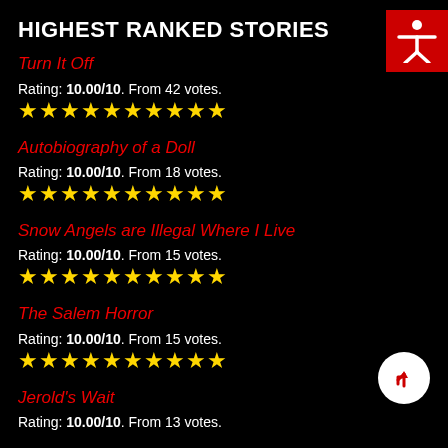HIGHEST RANKED STORIES
Turn It Off
Rating: 10.00/10. From 42 votes.
[Figure (other): 10 yellow stars rating]
Autobiography of a Doll
Rating: 10.00/10. From 18 votes.
[Figure (other): 10 yellow stars rating]
Snow Angels are Illegal Where I Live
Rating: 10.00/10. From 15 votes.
[Figure (other): 10 yellow stars rating]
The Salem Horror
Rating: 10.00/10. From 15 votes.
[Figure (other): 10 yellow stars rating]
Jerold's Wait
Rating: 10.00/10. From 13 votes.